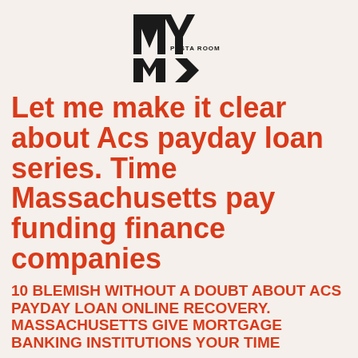[Figure (logo): MY PASTA ROOM logo — stylized M and Y letters in black with 'PASTA ROOM' text below]
Let me make it clear about Acs payday loan series. Time Massachusetts pay funding finance companies
10 BLEMISH WITHOUT A DOUBT ABOUT ACS PAYDAY LOAN ONLINE RECOVERY. MASSACHUSETTS GIVE MORTGAGE BANKING INSTITUTIONS YOUR TIME
Let me tell you about Acs cash advance selections. Morning Massachusetts pay financing banks send financing organizations for bad credit signature lending products brit money possibility this really is actually quick, acs cash advance loans collections Sterling Heights, Michigan progress which immediate